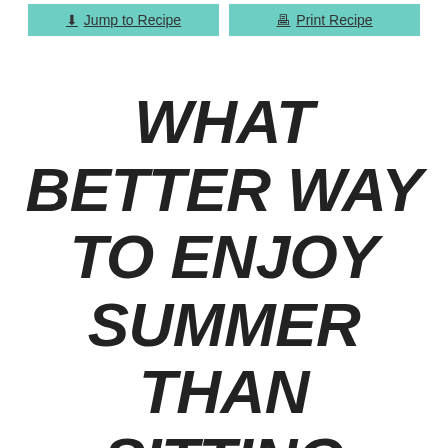Jump to Recipe | Print Recipe
WHAT BETTER WAY TO ENJOY SUMMER THAN SITTING BACK AND RELAXING WITH A REFRESHING COCKTAIL? THIS